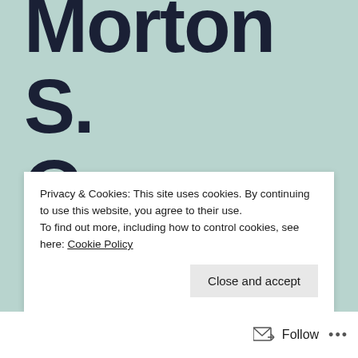Morton S. Gray – Summer at Lucerne Lodge
Privacy & Cookies: This site uses cookies. By continuing to use this website, you agree to their use.
To find out more, including how to control cookies, see here: Cookie Policy
Close and accept
Follow